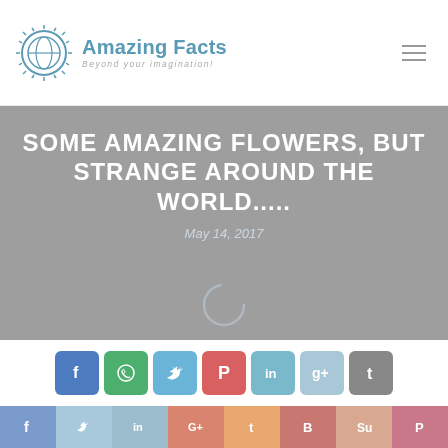Amazing Facts — Beyond your imagination!
SOME AMAZING FLOWERS, BUT STRANGE AROUND THE WORLD.....
May 14, 2017
[Figure (other): Loading spinner circle icon on grey hero background]
[Figure (infographic): Social media sharing icons row: Facebook, WhatsApp, Twitter, Pinterest, LinkedIn, Google Plus, Tumblr]
[Figure (infographic): Bottom social bar with icons: Facebook, Twitter, LinkedIn, Google+, Tumblr, Blogger, StumbleUpon, Pinterest]